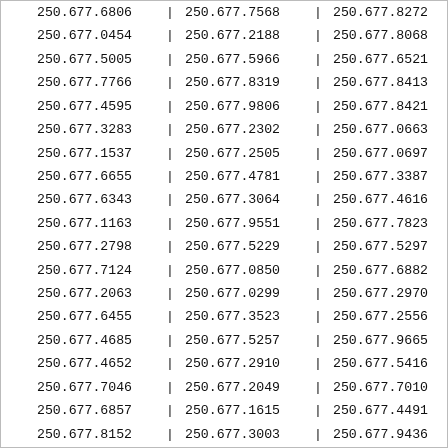| col1 | col2 | col3 |
| --- | --- | --- |
| 250.677.6806 | 250.677.7568 | 250.677.8272 |
| 250.677.0454 | 250.677.2188 | 250.677.8068 |
| 250.677.5005 | 250.677.5966 | 250.677.6521 |
| 250.677.7766 | 250.677.8319 | 250.677.8413 |
| 250.677.4595 | 250.677.9806 | 250.677.8421 |
| 250.677.3283 | 250.677.2302 | 250.677.0663 |
| 250.677.1537 | 250.677.2505 | 250.677.0697 |
| 250.677.6655 | 250.677.4781 | 250.677.3387 |
| 250.677.6343 | 250.677.3064 | 250.677.4616 |
| 250.677.1163 | 250.677.9551 | 250.677.7823 |
| 250.677.2798 | 250.677.5229 | 250.677.5297 |
| 250.677.7124 | 250.677.0850 | 250.677.6882 |
| 250.677.2063 | 250.677.0299 | 250.677.2970 |
| 250.677.6455 | 250.677.3523 | 250.677.2556 |
| 250.677.4685 | 250.677.5257 | 250.677.9665 |
| 250.677.4652 | 250.677.2910 | 250.677.5416 |
| 250.677.7046 | 250.677.2049 | 250.677.7010 |
| 250.677.6857 | 250.677.1615 | 250.677.4491 |
| 250.677.8152 | 250.677.3003 | 250.677.9436 |